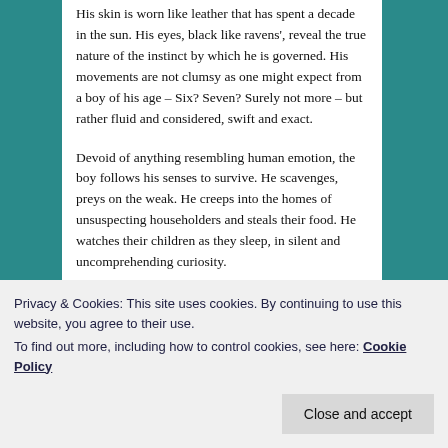His skin is worn like leather that has spent a decade in the sun. His eyes, black like ravens', reveal the true nature of the instinct by which he is governed. His movements are not clumsy as one might expect from a boy of his age – Six? Seven? Surely not more – but rather fluid and considered, swift and exact.
Devoid of anything resembling human emotion, the boy follows his senses to survive. He scavenges, preys on the weak. He creeps into the homes of unsuspecting householders and steals their food. He watches their children as they sleep, in silent and uncomprehending curiosity.
He was human, once, a long time ago. He is not human
Privacy & Cookies: This site uses cookies. By continuing to use this website, you agree to their use.
To find out more, including how to control cookies, see here: Cookie Policy
Close and accept